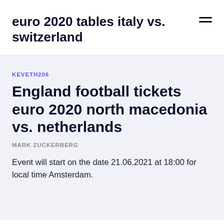euro 2020 tables italy vs. switzerland
KEVETH206
England football tickets euro 2020 north macedonia vs. netherlands
MARK ZUCKERBERG
Event will start on the date 21.06.2021 at 18:00 for local time Amsterdam.